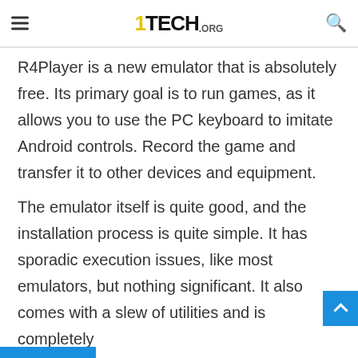1TECH.ORG
R4Player is a new emulator that is absolutely free. Its primary goal is to run games, as it allows you to use the PC keyboard to imitate Android controls. Record the game and transfer it to other devices and equipment.

The emulator itself is quite good, and the installation process is quite simple. It has sporadic execution issues, like most emulators, but nothing significant. It also comes with a slew of utilities and is completely